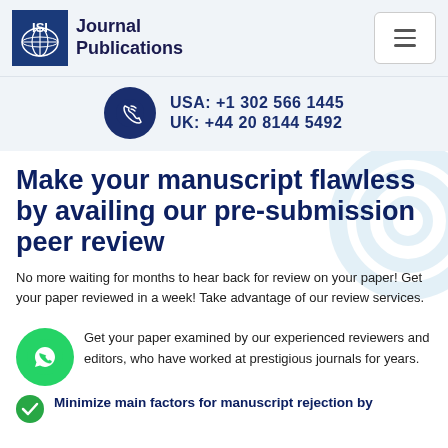[Figure (logo): ISI Journal Publications logo with globe icon]
USA: +1 302 566 1445
UK: +44 20 8144 5492
Make your manuscript flawless by availing our pre-submission peer review
No more waiting for months to hear back for review on your paper! Get your paper reviewed in a week! Take advantage of our review services.
Get your paper examined by our experienced reviewers and editors, who have worked at prestigious journals for years.
Minimize main factors for manuscript rejection by